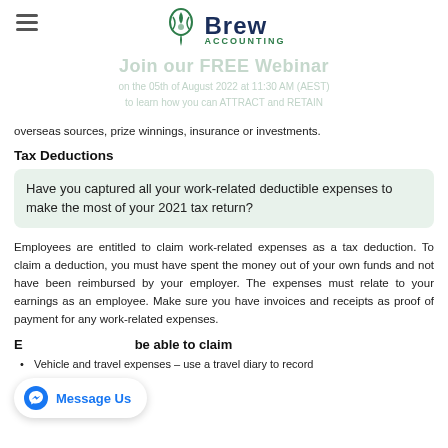Brew Accounting
overseas sources, prize winnings, insurance or investments.
Tax Deductions
Have you captured all your work-related deductible expenses to make the most of your 2021 tax return?
Employees are entitled to claim work-related expenses as a tax deduction. To claim a deduction, you must have spent the money out of your own funds and not have been reimbursed by your employer. The expenses must relate to your earnings as an employee. Make sure you have invoices and receipts as proof of payment for any work-related expenses.
Expenses you may be able to claim
Vehicle and travel expenses – use a travel diary to record